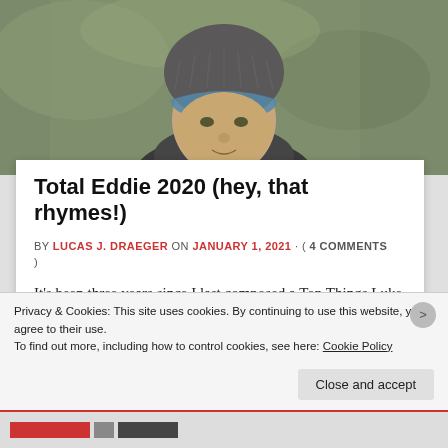[Figure (photo): A person wearing a grey knit beanie hat and blue visor/helmet, photographed outdoors with green background]
Total Eddie 2020 (hey, that rhymes!)
BY LUCAS J. DRAEGER ON JANUARY 1, 2021 · ( 4 COMMENTS )
It's been three years since I last composed a Top Things Luke Experienced This Year list (TTLETY, pronounced Total Eddie). I'd meant for it to become an annual tradition, but I managed to miss the past two years. Given my inconsistency, perhaps it's better I commit to an [...]
Privacy & Cookies: This site uses cookies. By continuing to use this website, you agree to their use.
To find out more, including how to control cookies, see here: Cookie Policy